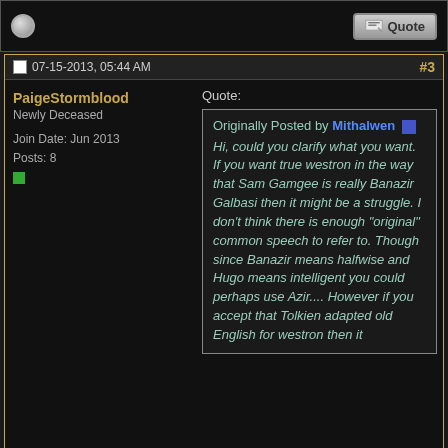07-15-2013, 05:44 AM  #3
PaigeStormblood
Newly Deceased

Join Date: Jun 2013
Posts: 8
Quote:
Originally Posted by Mithalwen
Hi, could you clarify what you want. If you want true westron in the way that Sam Gamgee is really Banazir Galbasi then it might be a struggle. I don't think there is enough "original" common speech to refer to. Though since Banazir means halfwise and Hugo means intelligent you could perhaps use Azir.... However if you accept that Tolkien adapted old English for westron then it